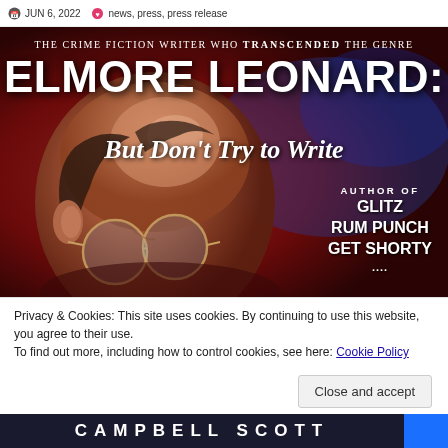JUN 6, 2022 | news, press, press release
[Figure (photo): Book cover for 'Elmore Leonard: But Don't Try to Write' by Campbell Scott. Dark red background with close-up photo of an elderly man with glasses. Text reads: 'The crime fiction writer who TRANSCENDED the genre', 'ELMORE LEONARD: But Don't Try to Write', 'AUTHOR OF GLITZ RUM PUNCH GET SHORTY ...' Author name CAMPBELL SCOTT at bottom.]
Privacy & Cookies: This site uses cookies. By continuing to use this website, you agree to their use.
To find out more, including how to control cookies, see here: Cookie Policy
Close and accept